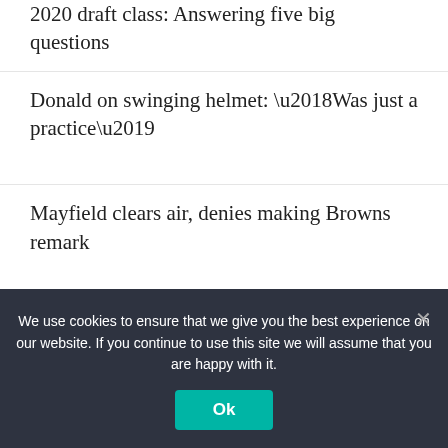2020 draft class: Answering five big questions
Donald on swinging helmet: ‘Was just a practice’
Mayfield clears air, denies making Browns remark
We use cookies to ensure that we give you the best experience on our website. If you continue to use this site we will assume that you are happy with it.